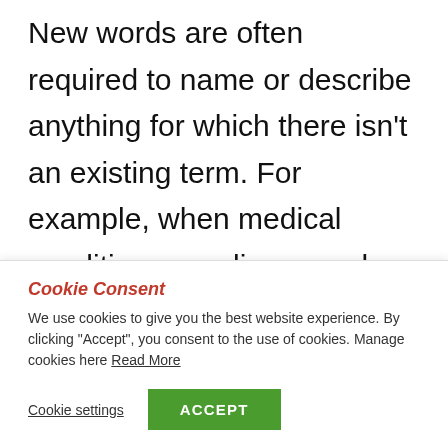New words are often required to name or describe anything for which there isn't an existing term. For example, when medical conditions are discovered, products are invented, or new styles and movements appear, they require names. Otherwise, we...
Cookie Consent
We use cookies to give you the best website experience. By clicking "Accept", you consent to the use of cookies. Manage cookies here Read More
Cookie settings | ACCEPT